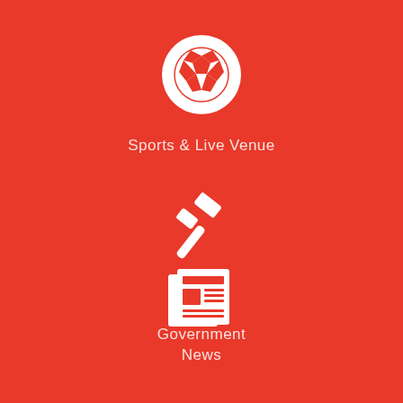[Figure (illustration): White soccer ball icon on red background]
Sports & Live Venue
[Figure (illustration): White gavel/judge hammer icon on red background]
Government
[Figure (illustration): White newspaper icon on red background]
News